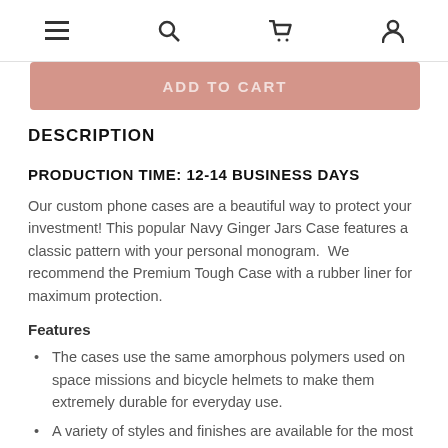≡ 🔍 🛒 👤
[Figure (other): Partially visible pink/salmon ADD TO CART button]
DESCRIPTION
PRODUCTION TIME: 12-14 BUSINESS DAYS
Our custom phone cases are a beautiful way to protect your investment! This popular Navy Ginger Jars Case features a classic pattern with your personal monogram.  We recommend the Premium Tough Case with a rubber liner for maximum protection.
Features
The cases use the same amorphous polymers used on space missions and bicycle helmets to make them extremely durable for everyday use.
A variety of styles and finishes are available for the most